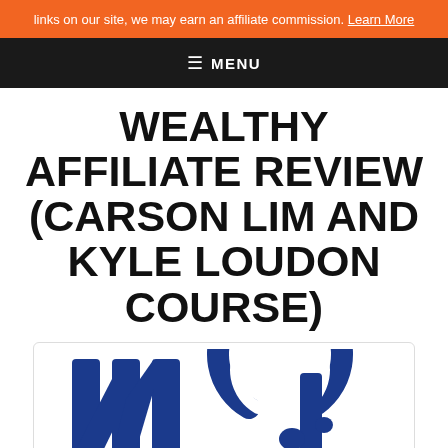links on our site, we may earn an affiliate commission. Learn More
≡ MENU
WEALTHY AFFILIATE REVIEW (CARSON LIM AND KYLE LOUDON COURSE)
[Figure (logo): Wealthy Affiliate logo showing stylized 'WA' letters in dark blue with circular arc accent on white background]